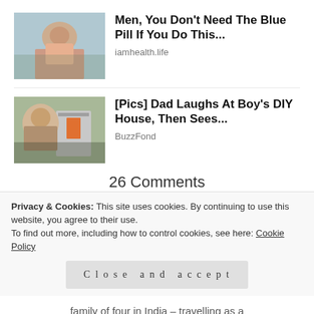[Figure (photo): Woman sitting outdoors at a table, advertisement image for health product]
Men, You Don't Need The Blue Pill If You Do This...
iamhealth.life
[Figure (photo): Young man selfie with small DIY house in background]
[Pics] Dad Laughs At Boy's DIY House, Then Sees...
BuzzFond
26 Comments
[Figure (photo): Generic user avatar placeholder (gray silhouette)]
REY
REPLY
MARCH 6, 2016 AT 6:39 PM
Privacy & Cookies: This site uses cookies. By continuing to use this website, you agree to their use.
To find out more, including how to control cookies, see here: Cookie Policy
Close and accept
family of four in India – travelling as a